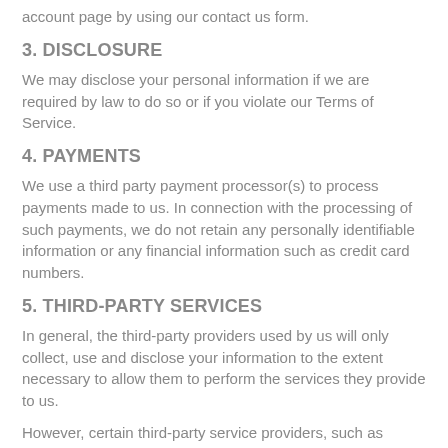account page by using our contact us form.
3. DISCLOSURE
We may disclose your personal information if we are required by law to do so or if you violate our Terms of Service.
4. PAYMENTS
We use a third party payment processor(s) to process payments made to us. In connection with the processing of such payments, we do not retain any personally identifiable information or any financial information such as credit card numbers.
5. THIRD-PARTY SERVICES
In general, the third-party providers used by us will only collect, use and disclose your information to the extent necessary to allow them to perform the services they provide to us.
However, certain third-party service providers, such as payment gateways and other payment transaction processors, have their own privacy policies in respect to the information we are required to provide to them for your purchase-related transactions.